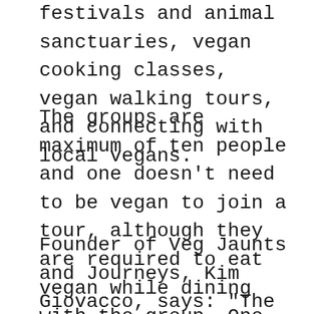festivals and animal sanctuaries, vegan cooking classes, vegan walking tours, and connecting with local vegans.
The groups are maximum of ten people and one doesn’t need to be vegan to join a tour, although they are required to eat vegan while dining with the group. One focus of the tours is to show that travelling as a vegan is not difficult.
Founder of Veg Jaunts and Journeys, Kim Giovacco, says: “The advantage of travelling with a small group is that activities are available which would not be possible for someone travelling alone or as